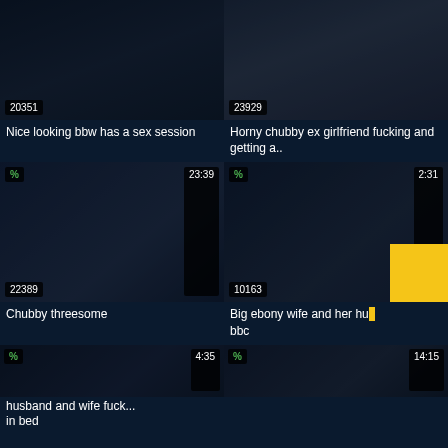[Figure (screenshot): Video thumbnail grid showing adult video titles with view counts and durations]
20351 | Nice looking bbw has a sex session
23929 | Horny chubby ex girlfriend fucking and getting a..
% | 23:39 | 22389 | Chubby threesome
% | 2:31 | 10163 | Big ebony wife and her hus... bbc
% | 4:35 | husband and wife fuck... in bed
% | 14:15